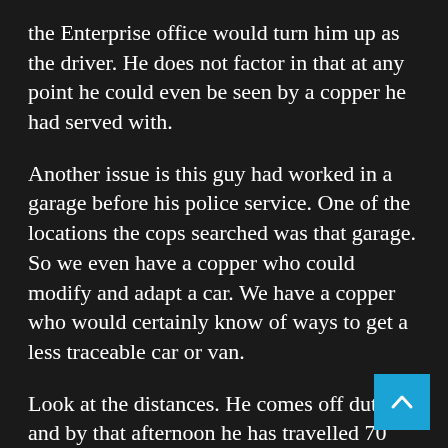the Enterprise office would turn him up as the driver. He does not factor in that at any point he could even be seen by a copper he had served with.
Another issue is this guy had worked in a garage before his police service. One of the locations the cops searched was that garage. So we even have a copper who could modify and adapt a car. We have a copper who would certainly know of ways to get a less traceable car or van.
Look at the distances. He comes off duty and by that afternoon he has travelled 70 miles. He then travels 70 miles to abduct Ms Everard. He then travels again because by 1 am he is near home at a place called Tilmanstone, Kent. At about 8 am dropping the hire car back in Deal. That is 210 approximately after a 12 hour night shift with